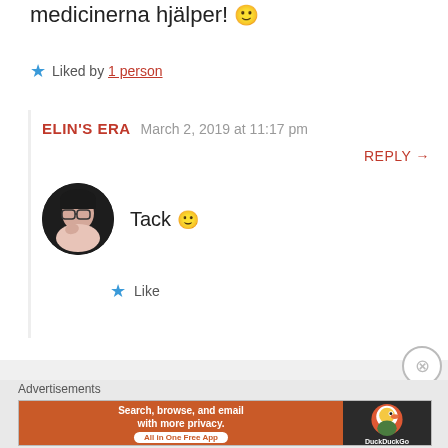medicinerna hjälper! 🙂
★ Liked by 1 person
ELIN'S ERA   March 2, 2019 at 11:17 pm
REPLY →
Tack 🙂
★ Like
Advertisements
[Figure (screenshot): DuckDuckGo advertisement banner: orange section with text 'Search, browse, and email with more privacy. All in One Free App' and dark section with DuckDuckGo duck logo]